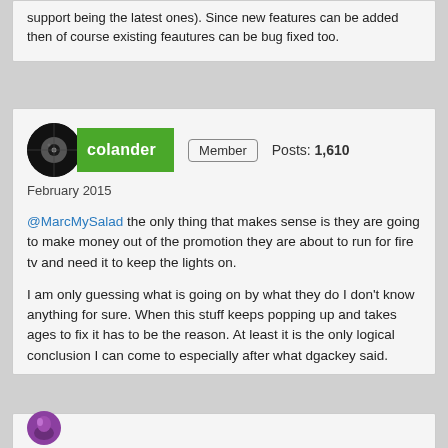support being the latest ones). Since new features can be added then of course existing feautures can be bug fixed too.
colander  Member  Posts: 1,610  February 2015
@MarcMySalad the only thing that makes sense is they are going to make money out of the promotion they are about to run for fire tv and need it to keep the lights on.

I am only guessing what is going on by what they do I don't know anything for sure. When this stuff keeps popping up and takes ages to fix it has to be the reason. At least it is the only logical conclusion I can come to especially after what dgackey said.